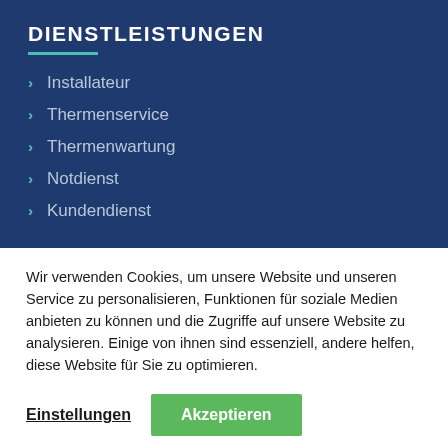DIENSTLEISTUNGEN
Installateur
Thermenservice
Thermenwartung
Notdienst
Kundendienst
Wir verwenden Cookies, um unsere Website und unseren Service zu personalisieren, Funktionen für soziale Medien anbieten zu können und die Zugriffe auf unsere Website zu analysieren. Einige von ihnen sind essenziell, andere helfen, diese Website für Sie zu optimieren.
Einstellungen  Akzeptieren